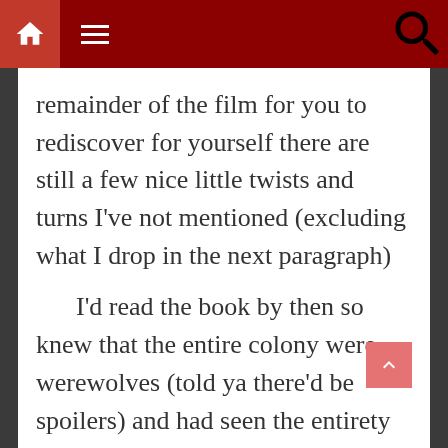Navigation bar with home, menu, and search icons
remainder of the film for you to rediscover for yourself there are still a few nice little twists and turns I’ve not mentioned (excluding what I drop in the next paragraph)
I’d read the book by then so knew that the entire colony were werewolves (told ya there’d be spoilers) and had seen the entirety of An American Werewolf in London which ties The Howling, in my meek